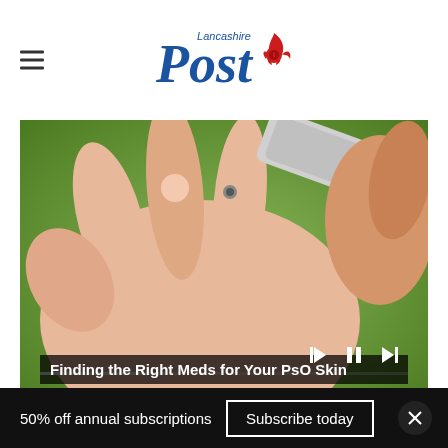Lancashire Post
[Figure (photo): Close-up of a finger being pricked by a lancet device for blood glucose testing, hand outstretched on a green background]
Finding the Right Meds for Your PsO Skin
[Figure (infographic): Advertisement: Save Up to $100 on Brakes & Rotors at Virginia Tire & Auto]
50% off annual subscriptions
Subscribe today